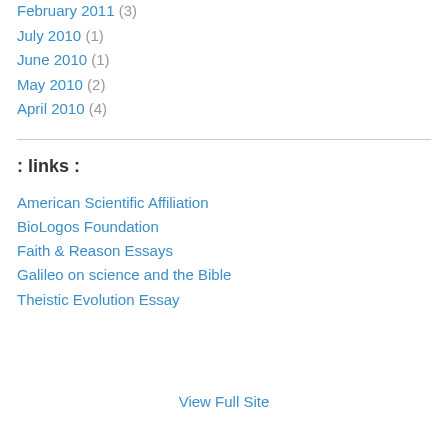February 2011 (3)
July 2010 (1)
June 2010 (1)
May 2010 (2)
April 2010 (4)
: links :
American Scientific Affiliation
BioLogos Foundation
Faith & Reason Essays
Galileo on science and the Bible
Theistic Evolution Essay
View Full Site